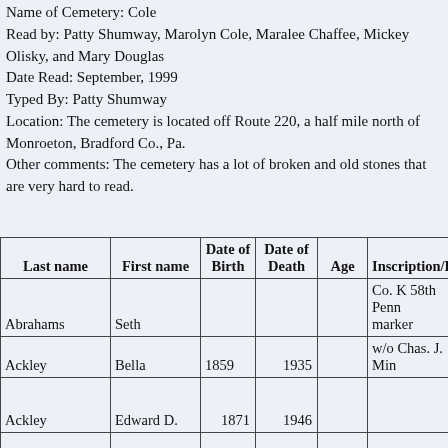Name of Cemetery: Cole
Read by: Patty Shumway, Marolyn Cole, Maralee Chaffee, Mickey Olisky, and Mary Douglas
Date Read: September, 1999
Typed By: Patty Shumway
Location: The cemetery is located off Route 220, a half mile north of Monroeton, Bradford Co., Pa.
Other comments: The cemetery has a lot of broken and old stones that are very hard to read.
| Last name | First name | Date of Birth | Date of Death | Age | Inscription/Rela... |
| --- | --- | --- | --- | --- | --- |
| Abrahams | Seth |  |  |  | Co. K 58th Penn marker |
| Ackley | Bella | 1859 | 1935 |  | w/o Chas. J. Min... |
| Ackley | Edward D. | 1871 | 1946 |  |  |
| Ackley | Eliza J. | Mar. 8, 1841 | Sept. 24, 1910 |  | w/o Theo. Ackley... |
| Ackley | Hannah J. | June 14, 1849 | Mar. 20, 1922 |  | w/o Leroy M. Bo... |